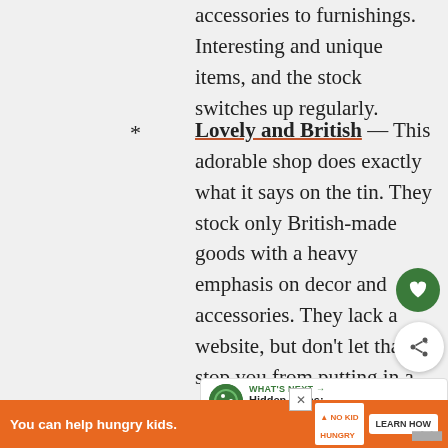accessories to furnishings. Interesting and unique items, and the stock switches up regularly.
* Lovely and British — This adorable shop does exactly what it says on the tin. They stock only British-made goods with a heavy emphasis on decor and accessories. They lack a website, but don't let that stop you from putting in a visit. Located on Bermondsey Street, there of similarly unique stores in the area
You can help hungry kids.